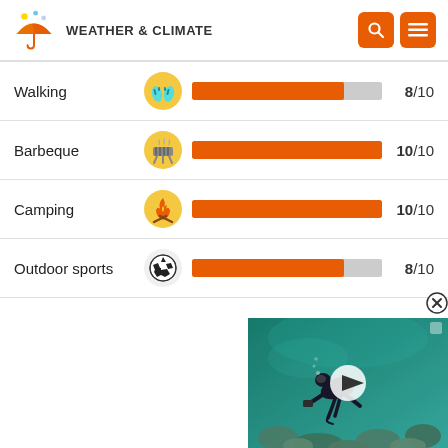WEATHER & CLIMATE
Walking 8/10
Barbeque 10/10
Camping 10/10
Outdoor sports 8/10
[Figure (photo): Underwater video thumbnail showing a scuba diver near coral reef, with a play button overlay]